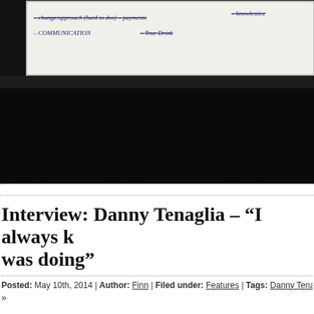[Figure (photo): Photograph of a whiteboard with handwritten notes in blue ink, partially visible. The whiteboard shows struck-through and regular handwritten text. Below the whiteboard is a dark black background area filling the lower portion of the image.]
Interview: Danny Tenaglia – “I always k[new what I] was doing”
Posted: May 10th, 2014 | Author: Finn | Filed under: Features | Tags: Danny Tenaglia, Gro[ove]
»